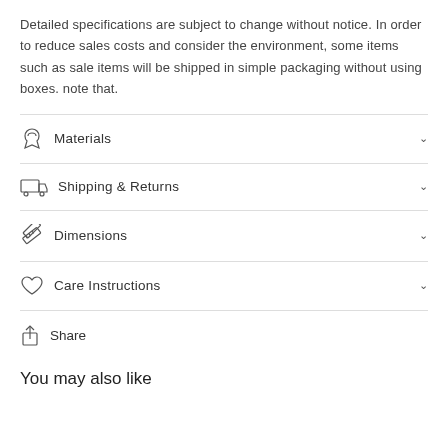Detailed specifications are subject to change without notice. In order to reduce sales costs and consider the environment, some items such as sale items will be shipped in simple packaging without using boxes. note that.
Materials
Shipping & Returns
Dimensions
Care Instructions
Share
You may also like